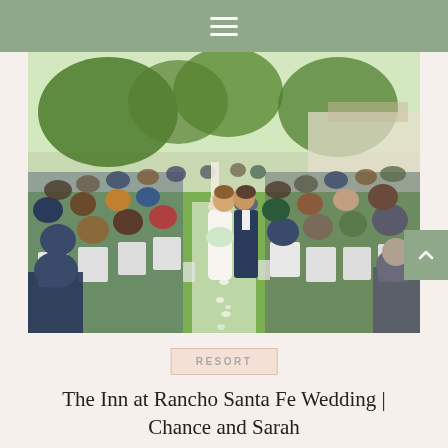≡
[Figure (photo): Outdoor wedding ceremony photo showing a bride and groom kissing at the altar in the center of the aisle, surrounded by seated wedding guests on white chairs on green grass, with trees in the background and a white building visible.]
RESORT
The Inn at Rancho Santa Fe Wedding | Chance and Sarah